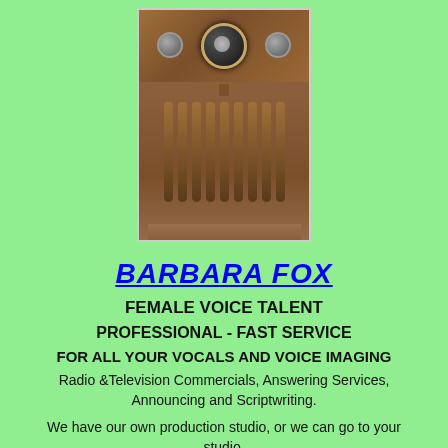[Figure (photo): Vintage wooden upright radio cabinet with speaker grille bars and a central circular dial, flanked by two knobs at the top.]
BARBARA FOX
FEMALE VOICE TALENT
PROFESSIONAL - FAST SERVICE
FOR ALL YOUR VOCALS AND VOICE IMAGING
Radio &Television Commercials, Answering Services, Announcing and Scriptwriting.
We have our own production studio, or we can go to your studio.